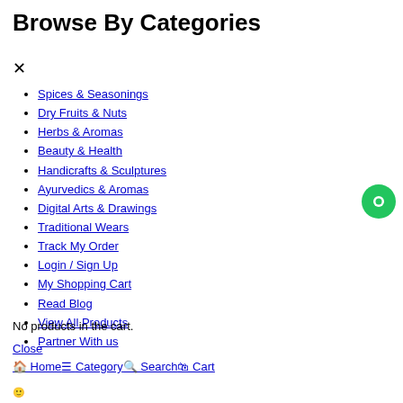Browse By Categories
Spices & Seasonings
Dry Fruits & Nuts
Herbs & Aromas
Beauty & Health
Handicrafts & Sculptures
Ayurvedics & Aromas
Digital Arts & Drawings
Traditional Wears
Track My Order
Login / Sign Up
My Shopping Cart
Read Blog
View All Products
Partner With us
No products in the cart.
Close
Home  Category  Search  Cart